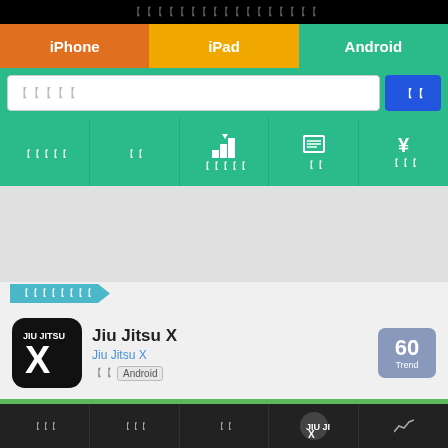【【【【【【【【【【【【【【【【【
iPhone  iPad  Android
【【【【【  【【
【【【【【  【【  【【【【【  【【  【【【
【【【【【【【【
Jiu Jitsu X
Jiu Jitsu X
【【  Android
60 Trend
【【【【【【 (GooglePlay)
【【【  【【【  【【  【【【  (chart icon)